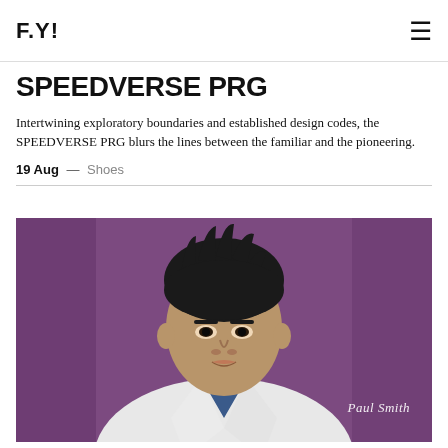F.Y!
SPEEDVERSE PRG
Intertwining exploratory boundaries and established design codes, the SPEEDVERSE PRG blurs the lines between the familiar and the pioneering.
19 Aug — Shoes
[Figure (photo): Young Asian male model in a white blazer and blue shirt with tie, posed against a purple background. Paul Smith signature logo visible in lower right.]